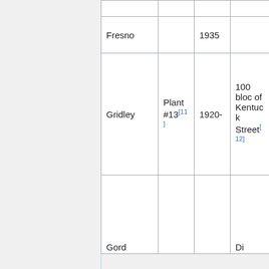|  |  |  |  |
| Fresno |  | 1935 |  |
| Gridley | Plant #13[11] | 1920- | 100 block of Kentucky Street[12] |
| Gord... |  |  | Di... |